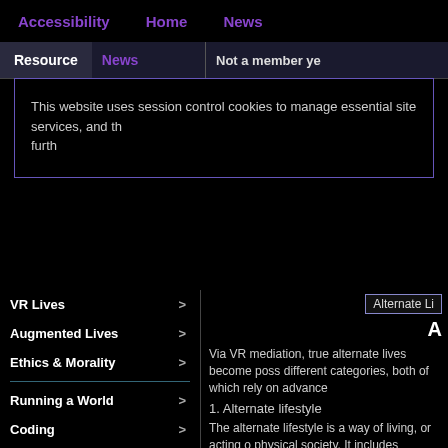Accessibility   Home   News
Resource   News   Not a member ye
This website uses session control cookies to manage essential site services, and th... furth...
VR Lives >
Augmented Lives >
Ethics & Morality >
Running a World >
Coding >
Building >
Colour and Movement >
Breathing Life >
Military & Law >
Levelling the Field >
Alternate Li...
A
Via VR mediation, true alternate lives become possible in two different categories, both of which rely on advance...
1. Alternate lifestyle
The alternate lifestyle is a way of living, or acting of physical society. It includes radically differing mod... viewpoints. Virtual forms, in a virtual environment... wish them, without infringing on anybody who dis...
2. Alternate body
The alternate body is a desire of almost everyone w...